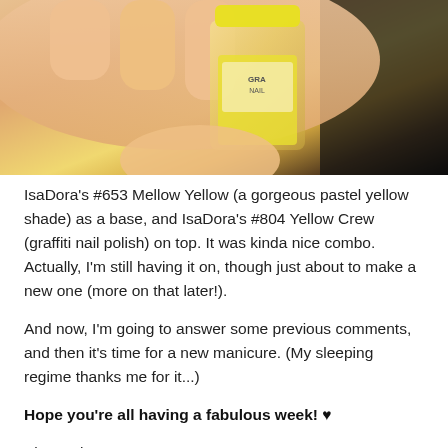[Figure (photo): A hand holding a yellow nail polish bottle (IsaDora brand) against a dark background. The bottle has a clear base with yellow polish inside and a yellow cap.]
IsaDora's #653 Mellow Yellow (a gorgeous pastel yellow shade) as a base, and IsaDora's #804 Yellow Crew (graffiti nail polish) on top. It was kinda nice combo. Actually, I'm still having it on, though just about to make a new one (more on that later!).
And now, I'm going to answer some previous comments, and then it's time for a new manicure. (My sleeping regime thanks me for it...)
Hope you're all having a fabulous week! ♥
Blog ya later,
xoxo